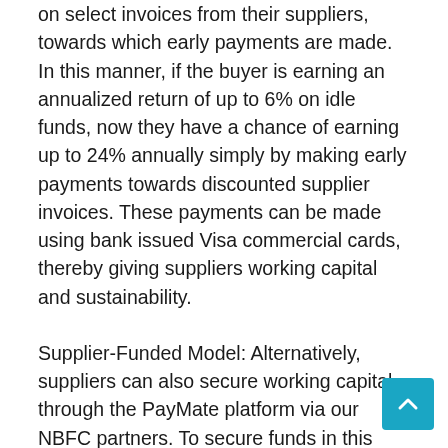on select invoices from their suppliers, towards which early payments are made. In this manner, if the buyer is earning an annualized return of up to 6% on idle funds, now they have a chance of earning up to 24% annually simply by making early payments towards discounted supplier invoices. These payments can be made using bank issued Visa commercial cards, thereby giving suppliers working capital and sustainability.
Supplier-Funded Model: Alternatively, suppliers can also secure working capital through the PayMate platform via our NBFC partners. To secure funds in this manner, the PayMate platform uses credit...